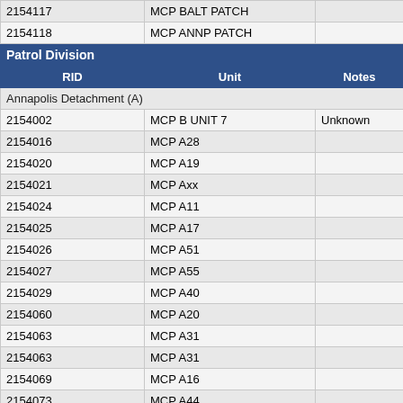| RID | Unit | Notes |
| --- | --- | --- |
| 2154117 | MCP BALT PATCH |  |
| 2154118 | MCP ANNP PATCH |  |
| Patrol Division |  |  |
| RID | Unit | Notes |
| Annapolis Detachment (A) |  |  |
| 2154002 | MCP B UNIT 7 | Unknown |
| 2154016 | MCP A28 |  |
| 2154020 | MCP A19 |  |
| 2154021 | MCP Axx |  |
| 2154024 | MCP A11 |  |
| 2154025 | MCP A17 |  |
| 2154026 | MCP A51 |  |
| 2154027 | MCP A55 |  |
| 2154029 | MCP A40 |  |
| 2154060 | MCP A20 |  |
| 2154063 | MCP A31 |  |
| 2154063 | MCP A31 |  |
| 2154069 | MCP A16 |  |
| 2154073 | MCP A44 |  |
| 2154111 | MCP A31 |  |
| Baltimore Detachment (B) |  |  |
| 2154037 | MCP B5 |  |
| 2154039 | MCP B6 |  |
| 2154041 | MCP B14 |  |